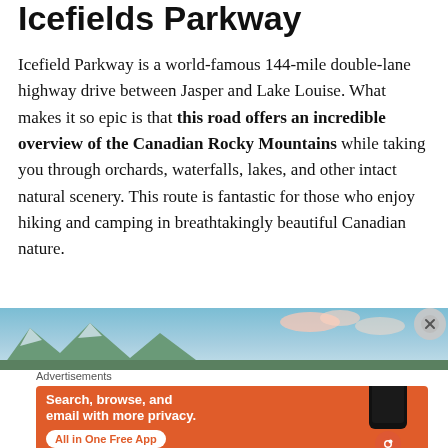Icefields Parkway
Icefield Parkway is a world-famous 144-mile double-lane highway drive between Jasper and Lake Louise. What makes it so epic is that this road offers an incredible overview of the Canadian Rocky Mountains while taking you through orchards, waterfalls, lakes, and other intact natural scenery. This route is fantastic for those who enjoy hiking and camping in breathtakingly beautiful Canadian nature.
[Figure (photo): Scenic mountain landscape photo strip showing mountains against a blue sky]
Advertisements
[Figure (screenshot): DuckDuckGo advertisement banner: Search, browse, and email with more privacy. All in One Free App. Shows DuckDuckGo logo and phone graphic on orange background.]